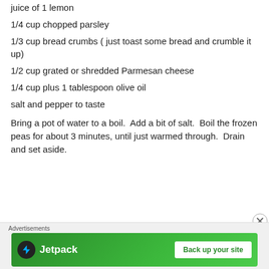juice of 1 lemon
1/4 cup chopped parsley
1/3 cup bread crumbs ( just toast some bread and crumble it up)
1/2 cup grated or shredded Parmesan cheese
1/4 cup plus 1 tablespoon olive oil
salt and pepper to taste
Bring a pot of water to a boil.  Add a bit of salt.  Boil the frozen peas for about 3 minutes, until just warmed through.  Drain and set aside.
[Figure (other): Advertisement banner: Jetpack 'Back up your site' green banner ad with close button]